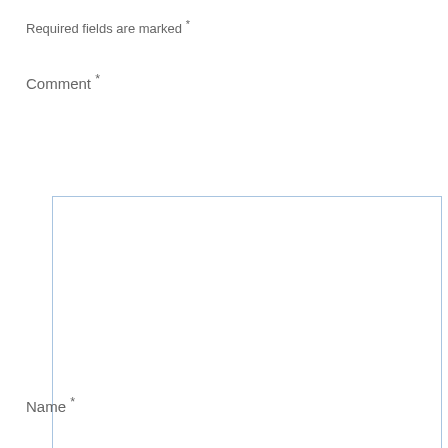Required fields are marked *
Comment *
[Figure (other): Empty textarea input box with light blue border and resize handle in bottom-right corner]
Name *
[Figure (other): Empty text input box with light blue border]